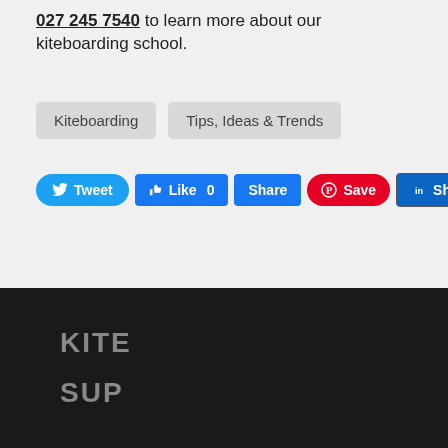027 245 7540 to learn more about our kiteboarding school.
Kiteboarding
Tips, Ideas & Trends
[Figure (infographic): Social sharing buttons: Tweet, Like 0, Share (Facebook), Save (Pinterest), Share (LinkedIn)]
KITE
SUP